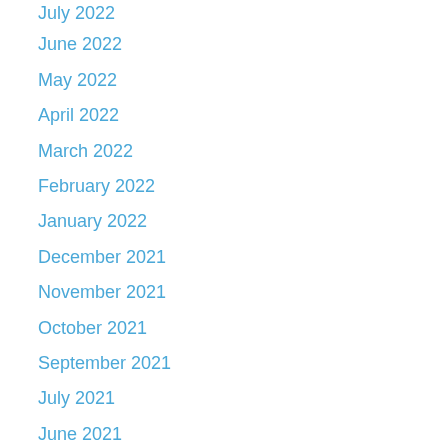July 2022
June 2022
May 2022
April 2022
March 2022
February 2022
January 2022
December 2021
November 2021
October 2021
September 2021
July 2021
June 2021
May 2021
March 2021
January 2021
November 2020
October 2020
September 2020
August 2020